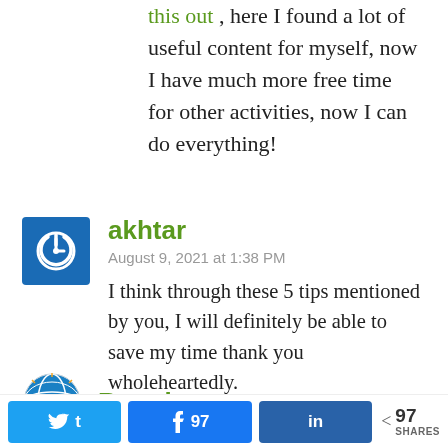this out , here I found a lot of useful content for myself, now I have much more free time for other activities, now I can do everything!
akhtar
August 9, 2021 at 1:38 PM
I think through these 5 tips mentioned by you, I will definitely be able to save my time thank you wholeheartedly.
Ronnie